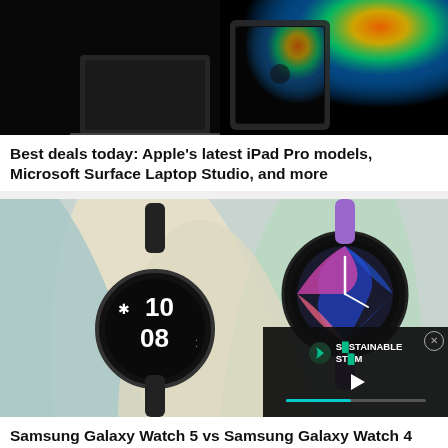[Figure (photo): Apple iPad Pro and MacBook on dark background with colorful light streaks]
Best deals today: Apple's latest iPad Pro models, Microsoft Surface Laptop Studio, and more
[Figure (photo): Samsung Galaxy Watch 5 and Galaxy Watch 4 on colorful pastel tube backgrounds, with a video overlay showing Sustainable Stream logo]
Samsung Galaxy Watch 5 vs Samsung Galaxy Watch 4